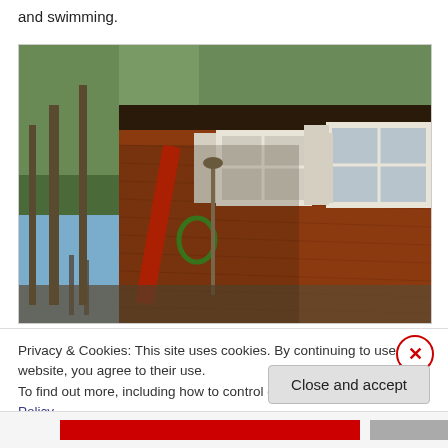and swimming.
[Figure (photo): A red-brown wooden cabin with white-framed windows, surrounded by trees and near a lake. Outdoor equipment including a red kayak/paddleboard, green hose, and shovel are leaning against the cabin wall.]
Privacy & Cookies: This site uses cookies. By continuing to use this website, you agree to their use.
To find out more, including how to control cookies, see here: Cookie Policy